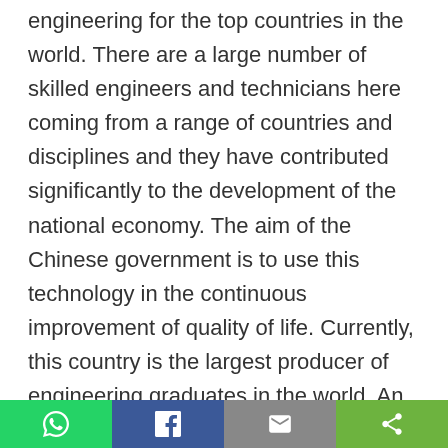engineering for the top countries in the world. There are a large number of skilled engineers and technicians here coming from a range of countries and disciplines and they have contributed significantly to the development of the national economy. The aim of the Chinese government is to use this technology in the continuous improvement of quality of life. Currently, this country is the largest producer of engineering graduates in the world. An average of 600,000 engineers graduate from its vast universities and colleges. On the contrary, U.S. just has 70,000 engineering graduates every year while Europe produces just 100,000.
[WhatsApp] [Facebook] [Email] [Share]